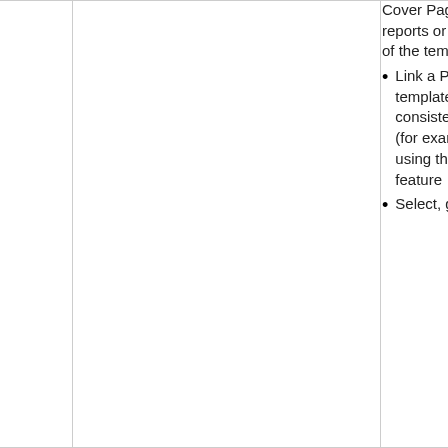Cover Pages to further tailor individual reports or sets of reports, independent of the template used
Link a Package to a document template to simplify generating consistent types of documentation (for example, Use Case reports) using the Resource Documents feature
Select, group and order